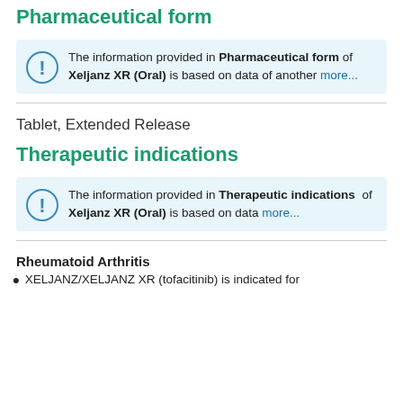Pharmaceutical form
The information provided in Pharmaceutical form of Xeljanz XR (Oral) is based on data of another more...
Tablet, Extended Release
Therapeutic indications
The information provided in Therapeutic indications of Xeljanz XR (Oral) is based on data more...
Rheumatoid Arthritis
XELJANZ/XELJANZ XR (tofacitinib) is indicated for